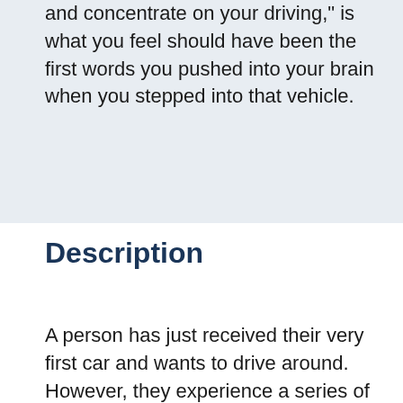and concentrate on your driving," is what you feel should have been the first words you pushed into your brain when you stepped into that vehicle.
Description
A person has just received their very first car and wants to drive around. However, they experience a series of events that leads to a car wreck in which a life was...